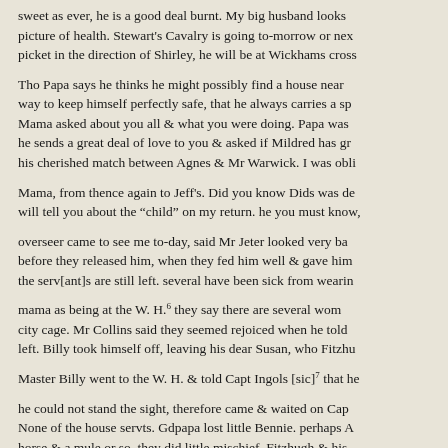sweet as ever, he is a good deal burnt. My big husband looks picture of health. Stewart's Cavalry is going to-morrow or nex picket in the direction of Shirley, he will be at Wickhams cross
Tho Papa says he thinks he might possibly find a house near way to keep himself perfectly safe, that he always carries a sp Mama asked about you all & what you were doing. Papa was he sends a great deal of love to you & asked if Mildred has gr his cherished match between Agnes & Mr Warwick. I was obli
Mama, from thence again to Jeff's. Did you know Dids was de will tell you about the “child” on my return. he you must know,
overseer came to see me to-day, said Mr Jeter looked very ba before they released him, when they fed him well & gave him the serv[ant]s are still left. several have been sick from wearin
mama as being at the W. H.⁶ they say there are several wom city cage. Mr Collins said they seemed rejoiced when he told left. Billy took himself off, leaving his dear Susan, who Fitzhu
Master Billy went to the W. H. & told Capt Ingols [sic]⁷ that he
he could not stand the sight, therefore came & waited on Cap None of the house servts. Gdpapa lost little Bennie. perhaps A horse & a mule or so. they did little mischief. Fitzhugh & his